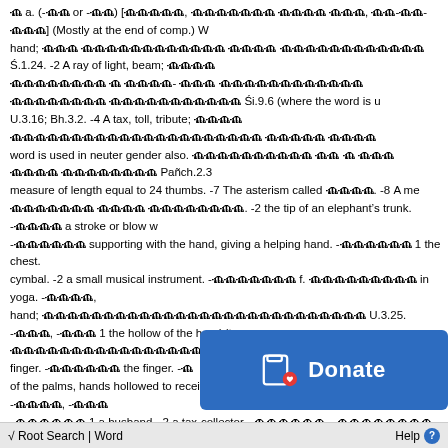a. (-m or -m) [Sanskrit, Sanskrit word root, Sanskrit-word] (Mostly at the end of comp.) W hand; Sanskrit Ś.1.24. -2 A ray of light, beam; Sanskrit Śi.9.6 (where the word is u U.3.16; Bh.3.2. -4 A tax, toll, tribute; Sanskrit word is used in neuter gender also. Sanskrit Pañch.2.3 measure of length equal to 24 thumbs. -7 The asterism called Sanskrit. -8 A me Sanskrit. -2 the tip of an elephant's trunk. -Sanskrit a stroke or blow w -Sanskrit supporting with the hand, giving a helping hand. -Sanskrit 1 the chest. cymbal. -2 a small musical instrument. -Sanskrit f. Sanskrit in yoga. -Sanskrit, hand; Sanskrit U.3.25. -Sanskrit, -Sanskrit 1 the hollow of the hand (t Sanskrit U.3.19; Ṛs.6.3. -2 a finger. -Sanskrit the finger. -S of the palms, hands hollowed to receive water; °Sanskrit Ghaṭ.22. -Sanskrit, -Sa -Sanskrit 1 a husband. -2 a tax-collector. -Sanskrit, -Sanskrit m. the churning-stick. fingernail; Sanskrit- Sanskrit Ve.4.1; Śi.11.37; Bv.1.15; Amaru.85. (-Sanskrit) a k Sanskrit Ś.4.5; Sanskrit Pt.2.128. °Sanskrit (lit.) ar hand; (fig.) ease and clearness of perception, such as is natural in the cas K.43. °Sanskrit a. resting on the palm of the hand; -Sanskrit To take in the palm of th clapping the hands; Sanskrit Śi.15.39. -2 a kind of musical instr Sanskrit- Sanskrit N.3.7. -2 beating time by clapping the hands Sanskrit Ve. 6.18. -3 giving the hand to Sanskrit. - water. °Sanskrit m. the palm tree. -Sanskrit a s °Sanskrit. -Sanskrit, -Sanskrit 1 a sword. -2 a cudg made of leather. -Sanskrit marriage; cf. Sanskrit. -Sanskrit 1 the hands joined and h
[Figure (other): Donate button overlay with blue background, bracket icon with heart, and 'Donate' text in white]
√ Root Search | Word    Help